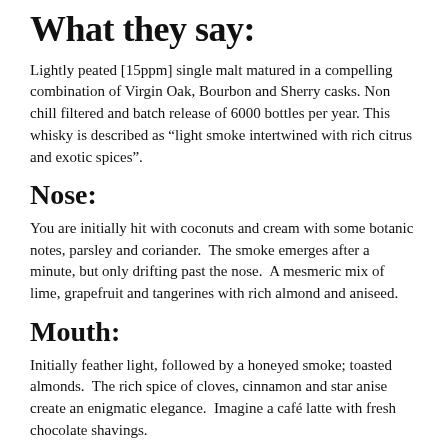What they say:
Lightly peated [15ppm] single malt matured in a compelling combination of Virgin Oak, Bourbon and Sherry casks. Non chill filtered and batch release of 6000 bottles per year. This whisky is described as “light smoke intertwined with rich citrus and exotic spices”.
Nose:
You are initially hit with coconuts and cream with some botanic notes, parsley and coriander.  The smoke emerges after a minute, but only drifting past the nose.  A mesmeric mix of lime, grapefruit and tangerines with rich almond and aniseed.
Mouth:
Initially feather light, followed by a honeyed smoke; toasted almonds.  The rich spice of cloves, cinnamon and star anise create an enigmatic elegance.  Imagine a café latte with fresh chocolate shavings.